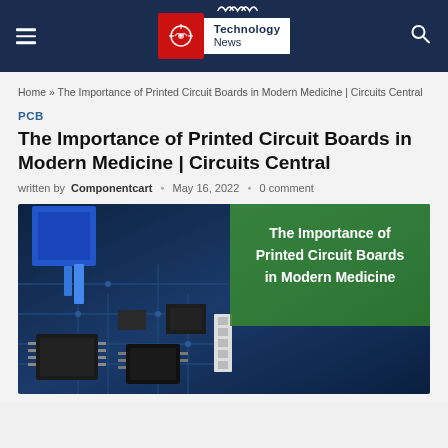Technology News
Home » The Importance of Printed Circuit Boards in Modern Medicine | Circuits Central
PCB
The Importance of Printed Circuit Boards in Modern Medicine | Circuits Central
written by Componentcart • May 16, 2022 • 0 comment
[Figure (photo): Close-up photo of a printed circuit board with blue components and chips, overlaid with a green banner reading 'The Importance of Printed Circuit Boards in Modern Medicine']